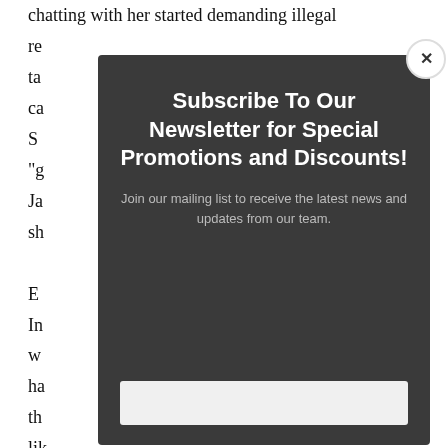chatting with her started demanding illegal re... ta... ca... S... "g...s Ja... sh... E... . In... w... ha... th... lik... get paid to bone.'" Edith mimed shooting herself in the...
[Figure (other): Modal popup overlay with dark background showing newsletter subscription prompt with title 'Subscribe To Our Newsletter for Special Promotions and Discounts!', subtitle text 'Join our mailing list to receive the latest news and updates from our team.', a close button (x) in top-right corner, and an email input field at the bottom.]